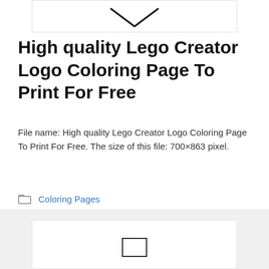[Figure (illustration): Partial view of a coloring page thumbnail with a downward arrow/chevron shape visible against a white background with light border]
High quality Lego Creator Logo Coloring Page To Print For Free
File name: High quality Lego Creator Logo Coloring Page To Print For Free. The size of this file: 700×863 pixel.
Coloring Pages
creator, free, high, lego, logo, print, quality, to
[Figure (illustration): Partial view of another coloring page thumbnail at the bottom of the page]